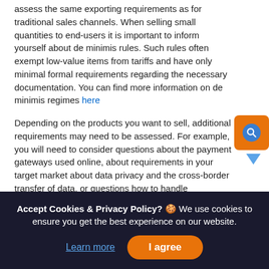assess the same exporting requirements as for traditional sales channels. When selling small quantities to end-users it is important to inform yourself about de minimis rules. Such rules often exempt low-value items from tariffs and have only minimal formal requirements regarding the necessary documentation. You can find more information on de minimis regimes here
Depending on the products you want to sell, additional requirements may need to be assessed. For example, you will need to consider questions about the payment gateways used online, about requirements in your target market about data privacy and the cross-border transfer of data, or questions how to handle warehousing and the logistics.
You can contact chambers of commerce, export promotion agencies, consultancies or similar institutions for help in this process (LINK to useful contacts). The Enterprise Europe Network also offers a general guide for SMEs to e-commerce in Europe
Accept Cookies & Privacy Policy? 🍪 We use cookies to ensure you get the best experience on our website.
Learn more | I agree